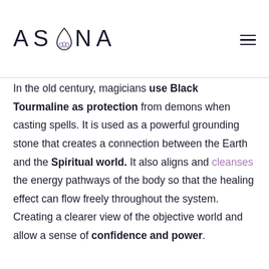ASANA
In the old century, magicians use Black Tourmaline as protection from demons when casting spells. It is used as a powerful grounding stone that creates a connection between the Earth and the Spiritual world. It also aligns and cleanses the energy pathways of the body so that the healing effect can flow freely throughout the system. Creating a clearer view of the objective world and allow a sense of confidence and power.